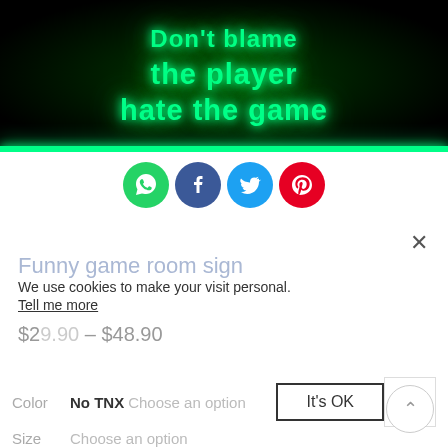[Figure (photo): Neon LED sign with green glowing text reading 'the player hate the game' on a dark background, with a bright green horizontal bar at the bottom]
[Figure (infographic): Social sharing buttons: WhatsApp (green), Facebook (dark blue), Twitter (light blue), Pinterest (red)]
×
Funny game room sign
We use cookies to make your visit personal.
Tell me more
$29.90 – $48.90
Color   No TNX   Choose an option   It's OK
Size   Choose an option